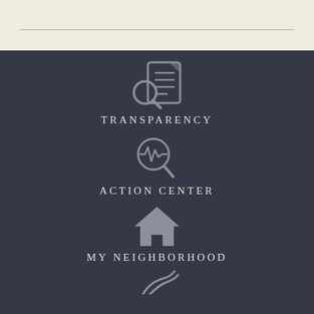[Figure (illustration): Top banner with beige/cream background and horizontal rule line]
[Figure (illustration): Document search icon - magnifying glass over a document with lines]
TRANSPARENCY
[Figure (illustration): Heartbeat/activity monitor with magnifying glass icon]
ACTION CENTER
[Figure (illustration): House/home icon]
MY NEIGHBORHOOD
[Figure (illustration): Partial icon at bottom - appears to be a leaf or wind icon]